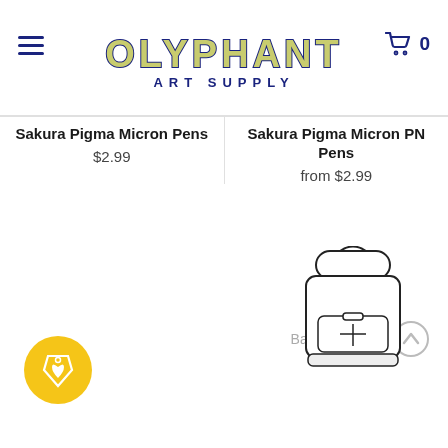[Figure (logo): Olyphant Art Supply logo with decorative font in olive/yellow with dark blue outline, subtitle ART SUPPLY in dark blue uppercase letters]
Sakura Pigma Micron Pens
$2.99
Sakura Pigma Micron PN Pens
from $2.99
Back to the top
[Figure (illustration): Line drawing illustration of a backpack/messenger bag]
[Figure (illustration): Yellow circular loyalty/rewards badge with a tag icon containing a heart]